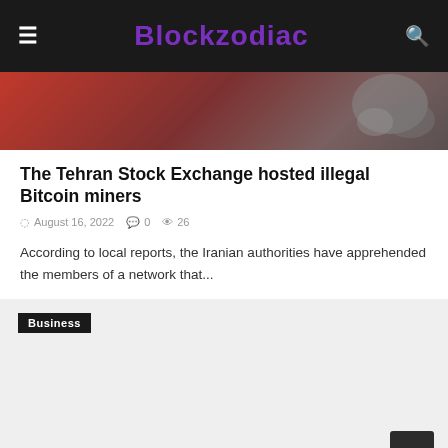Blockzodiac
[Figure (photo): Partial hero image showing red background with metallic/chain objects in the upper right corner]
The Tehran Stock Exchange hosted illegal Bitcoin miners
August 16, 2022  0  26
According to local reports, the Iranian authorities have apprehended the members of a network that...
[Figure (photo): Gray/light background card section with 'Business' tag label in the upper left]
Business